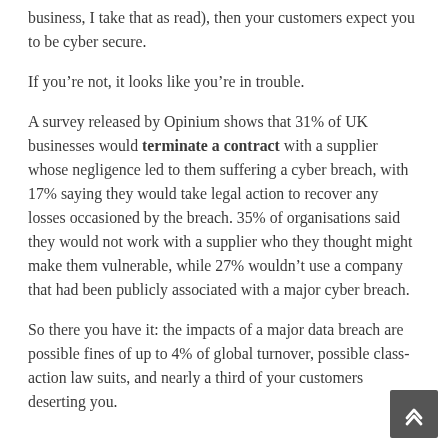business, I take that as read), then your customers expect you to be cyber secure.
If you’re not, it looks like you’re in trouble.
A survey released by Opinium shows that 31% of UK businesses would terminate a contract with a supplier whose negligence led to them suffering a cyber breach, with 17% saying they would take legal action to recover any losses occasioned by the breach. 35% of organisations said they would not work with a supplier who they thought might make them vulnerable, while 27% wouldn’t use a company that had been publicly associated with a major cyber breach.
So there you have it: the impacts of a major data breach are possible fines of up to 4% of global turnover, possible class-action law suits, and nearly a third of your customers deserting you.